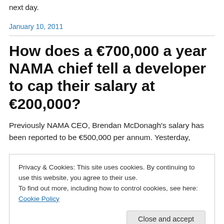next day.
January 10, 2011
How does a €700,000 a year NAMA chief tell a developer to cap their salary at €200,000?
Previously NAMA CEO, Brendan McDonagh's salary has been reported to be €500,000 per annum. Yesterday,
Privacy & Cookies: This site uses cookies. By continuing to use this website, you agree to their use.
To find out more, including how to control cookies, see here: Cookie Policy
Close and accept